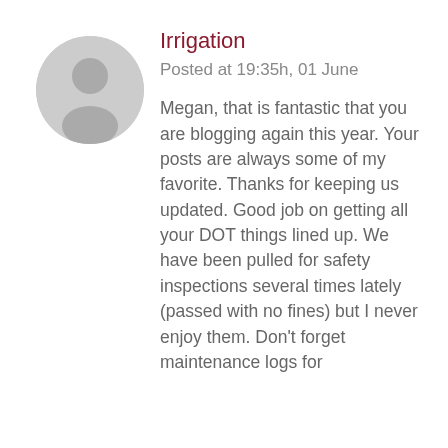[Figure (illustration): Gray circular avatar with a generic person silhouette icon]
Irrigation
Posted at 19:35h, 01 June
Megan, that is fantastic that you are blogging again this year. Your posts are always some of my favorite. Thanks for keeping us updated. Good job on getting all your DOT things lined up. We have been pulled for safety inspections several times lately (passed with no fines) but I never enjoy them. Don't forget maintenance logs for